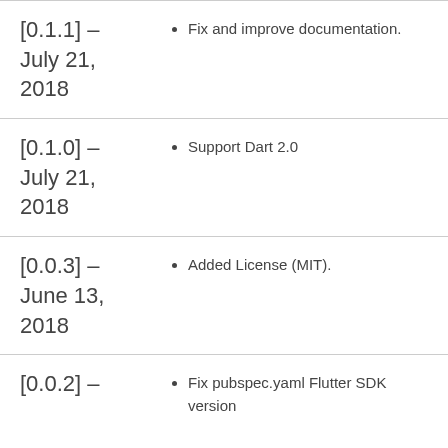[0.1.1] – July 21, 2018
Fix and improve documentation.
[0.1.0] – July 21, 2018
Support Dart 2.0
[0.0.3] – June 13, 2018
Added License (MIT).
[0.0.2] –
Fix pubspec.yaml Flutter SDK version